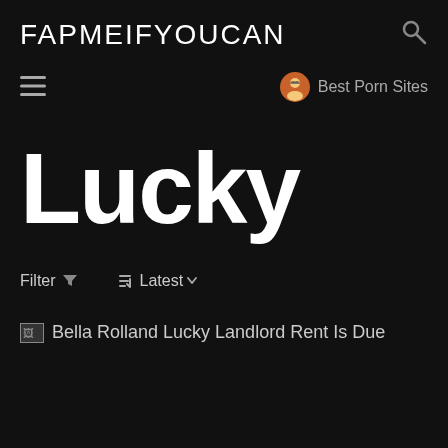FAPMEIFYOUCAN
Best Porn Sites
Lucky
Filter  ↓≡  Latest ▼
Bella Rolland Lucky Landlord Rent Is Due